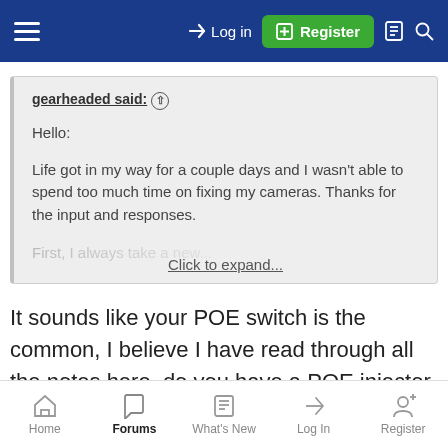Log in | Register
gearheaded said: ↑

Hello:

Life got in my way for a couple days and I wasn't able to spend too much time on fixing my cameras. Thanks for the input and responses.

First, I always take a new...

Click to expand...
It sounds like your POE switch is the common, I believe I have read through all the notes here, do you have a POE injector you can use to test with and bypass the Switch?
Home | Forums | What's New | Log In | Register